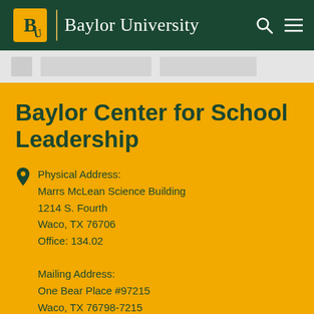Baylor University
Baylor Center for School Leadership
Physical Address:
Marrs McLean Science Building
1214 S. Fourth
Waco, TX 76706
Office: 134.02

Mailing Address:
One Bear Place #97215
Waco, TX 76798-7215
(254) 710-3111